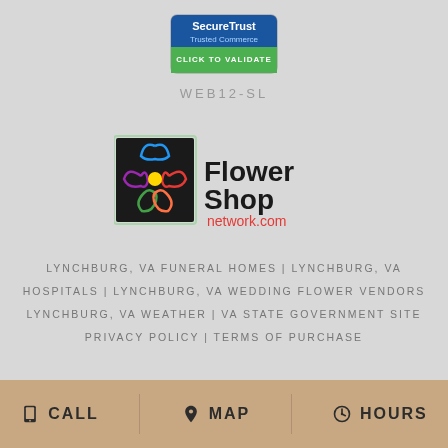[Figure (logo): SecureTrust Trusted Commerce CLICK TO VALIDATE badge]
WEB12-SL
[Figure (logo): Flower Shop Network.com logo with colorful flower graphic]
LYNCHBURG, VA FUNERAL HOMES | LYNCHBURG, VA HOSPITALS | LYNCHBURG, VA WEDDING FLOWER VENDORS LYNCHBURG, VA WEATHER | VA STATE GOVERNMENT SITE PRIVACY POLICY | TERMS OF PURCHASE
CALL  MAP  HOURS